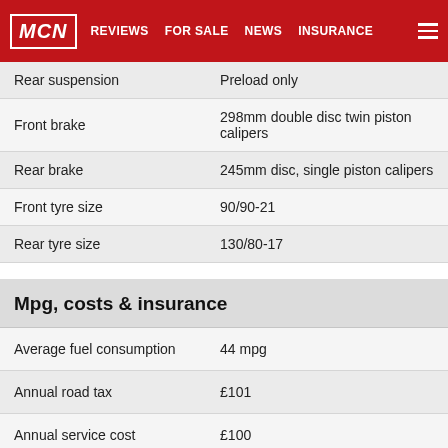MCN | REVIEWS | FOR SALE | NEWS | INSURANCE
|  |  |
| --- | --- |
| Rear suspension | Preload only |
| Front brake | 298mm double disc twin piston calipers |
| Rear brake | 245mm disc, single piston calipers |
| Front tyre size | 90/90-21 |
| Rear tyre size | 130/80-17 |
Mpg, costs & insurance
|  |  |
| --- | --- |
| Average fuel consumption | 44 mpg |
| Annual road tax | £101 |
| Annual service cost | £100 |